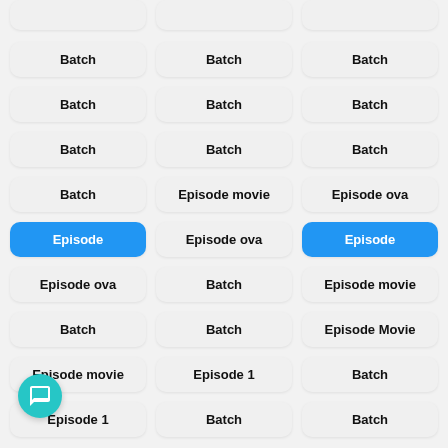Batch
Batch
Batch
Batch
Batch
Batch
Batch
Batch
Batch
Batch
Episode movie
Episode ova
Episode
Episode ova
Episode
Episode ova
Batch
Episode movie
Batch
Batch
Episode Movie
Episode movie
Episode 1
Batch
Episode 1
Batch
Batch